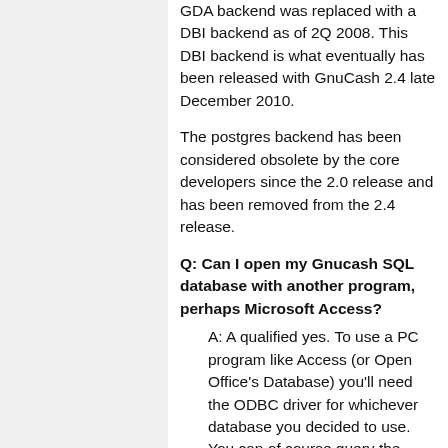GDA backend was replaced with a DBI backend as of 2Q 2008. This DBI backend is what eventually has been released with GnuCash 2.4 late December 2010.
The postgres backend has been considered obsolete by the core developers since the 2.0 release and has been removed from the 2.4 release.
Q: Can I open my Gnucash SQL database with another program, perhaps Microsoft Access?
A: A qualified yes. To use a PC program like Access (or Open Office's Database) you'll need the ODBC driver for whichever database you decided to use. You can of course query the database